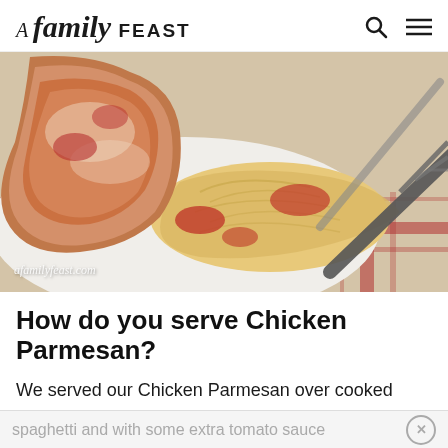A Family Feast
[Figure (photo): A plate of Chicken Parmesan served over spaghetti with tomato sauce, on a red and white checkered tablecloth, with a fork visible. Watermark reads afamilyfeast.com]
How do you serve Chicken Parmesan?
We served our Chicken Parmesan over cooked
spaghetti and with some extra tomato sauce